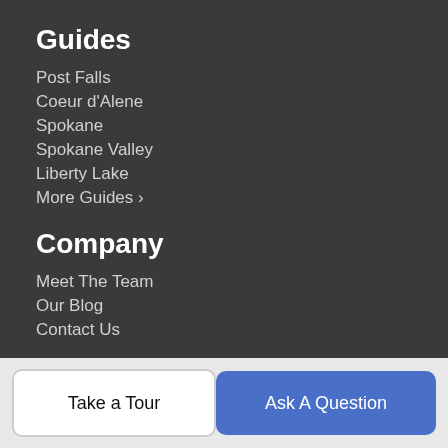Guides
Post Falls
Coeur d'Alene
Spokane
Spokane Valley
Liberty Lake
More Guides >
Company
Meet The Team
Our Blog
Contact Us
Resources
Take a Tour
Ask A Question